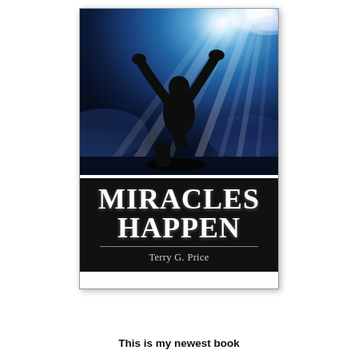[Figure (photo): Book cover of 'Miracles Happen' by Terry G. Price. The top portion shows a dramatic photograph of a person kneeling in silhouette with arms raised upward toward bright light rays breaking through clouds in a deep blue sky. The bottom portion has a black background with the title 'MIRACLES HAPPEN' in large white serif text followed by a horizontal rule and the author name 'Terry G. Price' in smaller white text.]
This is my newest book